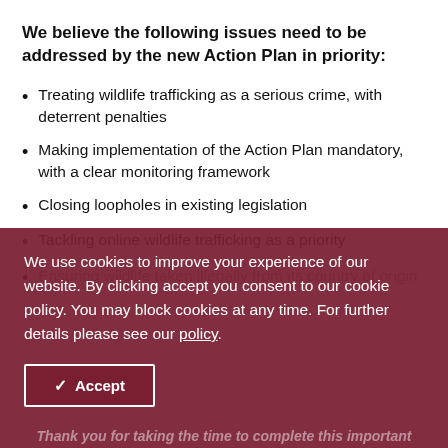We believe the following issues need to be addressed by the new Action Plan in priority:
Treating wildlife trafficking as a serious crime, with deterrent penalties
Making implementation of the Action Plan mandatory, with a clear monitoring framework
Closing loopholes in existing legislation
Tackling online wildlife trafficking as a priority
Ensuring wildlife taken illegally from its country of origin...
We use cookies to improve your experience of our website. By clicking accept you consent to our cookie policy. You may block cookies at any time. For further details please see our policy.
Thank you for taking the time to complete this important